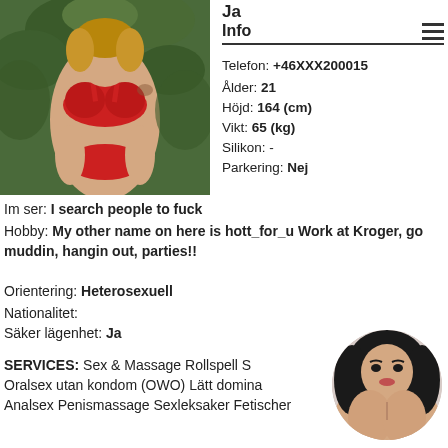[Figure (photo): Woman in red lingerie standing in front of green foliage]
Ja
Info
Telefon: +46XXX200015
Ålder: 21
Höjd: 164 (cm)
Vikt: 65 (kg)
Silikon: -
Parkering: Nej
Im ser: I search people to fuck
Hobby: My other name on here is hott_for_u Work at Kroger, go muddin, hangin out, parties!!
Orientering: Heterosexuell
Nationalitet:
Säker lägenhet: Ja
SERVICES: Sex & Massage Rollspell S Oralsex utan kondom (OWO) Lätt domina Analsex Penismassage Sexleksaker Fetischer
[Figure (photo): Dark-haired woman portrait in circular thumbnail]